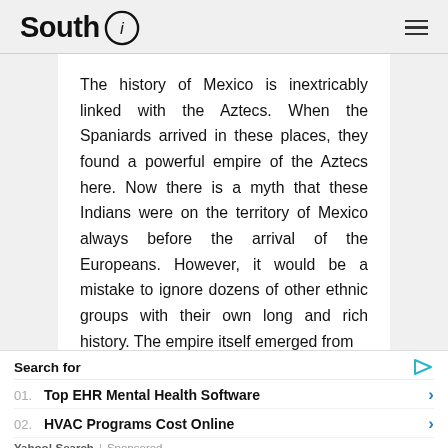South i
The history of Mexico is inextricably linked with the Aztecs. When the Spaniards arrived in these places, they found a powerful empire of the Aztecs here. Now there is a myth that these Indians were on the territory of Mexico always before the arrival of the Europeans. However, it would be a mistake to ignore dozens of other ethnic groups with their own long and rich history. The empire itself emerged from
Search for
01. Top EHR Mental Health Software
02. HVAC Programs Cost Online
Yahoo! Search | Sponsored